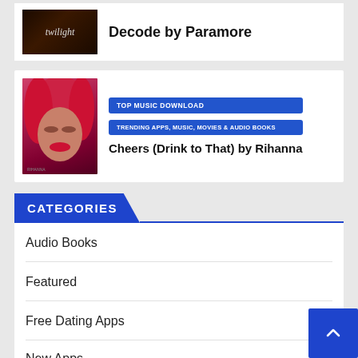[Figure (screenshot): Twilight movie album art thumbnail with dark brown tones and italic twilight text]
Decode by Paramore
[Figure (photo): Rihanna album art with red-pink tones showing woman with red hair]
TOP MUSIC DOWNLOAD
TRENDING APPS, MUSIC, MOVIES & AUDIO BOOKS
Cheers (Drink to That) by Rihanna
CATEGORIES
Audio Books
Featured
Free Dating Apps
New Apps